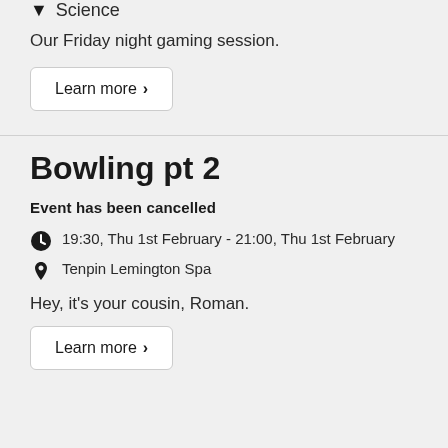Science
Our Friday night gaming session.
Learn more ›
Bowling pt 2
Event has been cancelled
19:30, Thu 1st February - 21:00, Thu 1st February
Tenpin Lemington Spa
Hey, it's your cousin, Roman.
Learn more ›